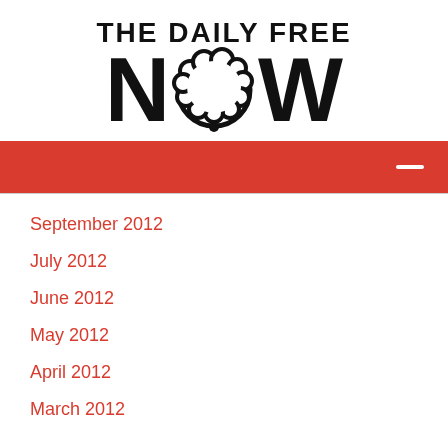[Figure (logo): The Daily Free Now logo with bold text 'THE DAILY FREE' above large 'NOW' text where the O is replaced by a cloud speech bubble shape]
[Figure (other): Red navigation bar with white hamburger/minus icon on the right]
September 2012
July 2012
June 2012
May 2012
April 2012
March 2012